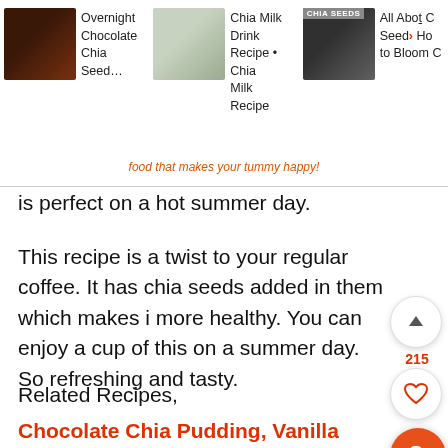[Figure (screenshot): Top navigation bar with three recipe thumbnails: 'Overnight Chocolate Chia Seed...', 'Chia Milk Drink Recipe • Chia Milk Recipe', 'All About Chia Seeds > Ho to Bloom C']
[Figure (photo): Logo tagline area: 'food that makes your tummy happy!' in orange italic script]
is perfect on a hot summer day.
This recipe is a twist to your regular coffee. It has chia seeds added in them which makes it more healthy. You can enjoy a cup of this on a summer day. So refreshing and tasty.
Related Recipes,
Chocolate Chia Pudding, Vanilla Chia Pudding, Avocado Chia Pudding & Fig Chia